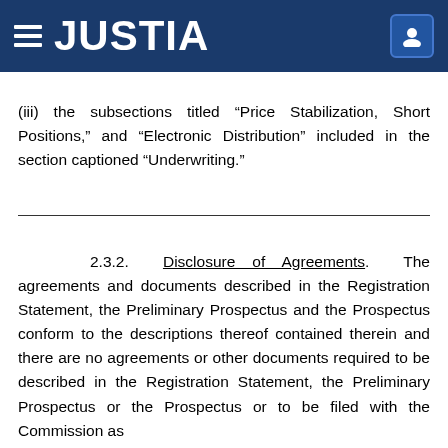JUSTIA
(iii) the subsections titled “Price Stabilization, Short Positions,” and “Electronic Distribution” included in the section captioned “Underwriting.”
2.3.2. Disclosure of Agreements. The agreements and documents described in the Registration Statement, the Preliminary Prospectus and the Prospectus conform to the descriptions thereof contained therein and there are no agreements or other documents required to be described in the Registration Statement, the Preliminary Prospectus or the Prospectus or to be filed with the Commission as